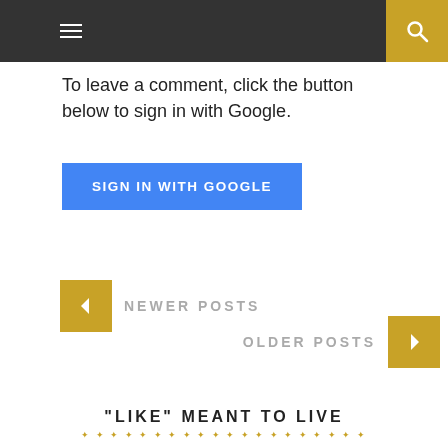To leave a comment, click the button below to sign in with Google.
SIGN IN WITH GOOGLE
NEWER POSTS
OLDER POSTS
"LIKE" MEANT TO LIVE